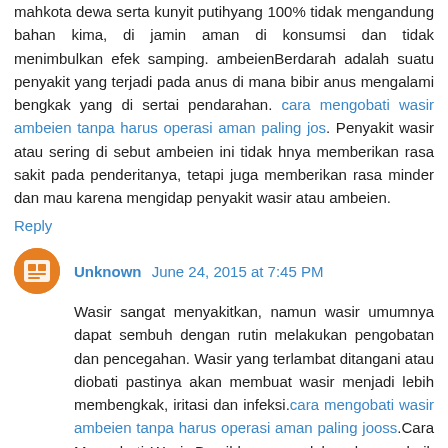mahkota dewa serta kunyit putihyang 100% tidak mengandung bahan kima, di jamin aman di konsumsi dan tidak menimbulkan efek samping. ambeienBerdarah adalah suatu penyakit yang terjadi pada anus di mana bibir anus mengalami bengkak yang di sertai pendarahan. cara mengobati wasir ambeien tanpa harus operasi aman paling jos. Penyakit wasir atau sering di sebut ambeien ini tidak hnya memberikan rasa sakit pada penderitanya, tetapi juga memberikan rasa minder dan mau karena mengidap penyakit wasir atau ambeien.
Reply
Unknown June 24, 2015 at 7:45 PM
Wasir sangat menyakitkan, namun wasir umumnya dapat sembuh dengan rutin melakukan pengobatan dan pencegahan. Wasir yang terlambat ditangani atau diobati pastinya akan membuat wasir menjadi lebih membengkak, iritasi dan infeksi.cara mengobati wasir ambeien tanpa harus operasi aman paling jooss.Cara Mengobati Wasir Bersihkan area dubur dengan baik setiap selesai buang air